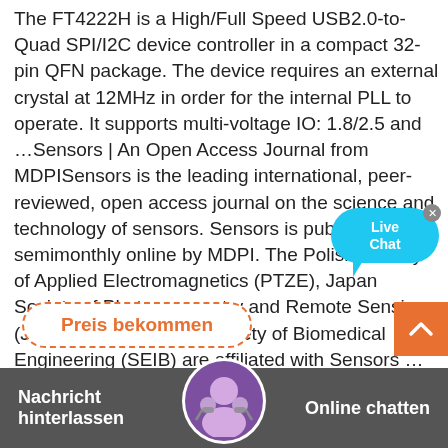The FT4222H is a High/Full Speed USB2.0-to-Quad SPI/I2C device controller in a compact 32-pin QFN package. The device requires an external crystal at 12MHz in order for the internal PLL to operate. It supports multi-voltage IO: 1.8/2.5 and …Sensors | An Open Access Journal from MDPISensors is the leading international, peer-reviewed, open access journal on the science and technology of sensors. Sensors is published semimonthly online by MDPI. The Polish Society of Applied Electromagnetics (PTZE), Japan Society of Photogrammetry and Remote Sensing (JSPRS) and Spanish Society of Biomedical Engineering (SEIB) are affiliated with Sensors …
[Figure (other): Live Chat bubble in cyan/blue color with white text 'Live Chat' and a close X button]
Preis bekommen
[Figure (other): Orange scroll-to-top button with upward chevron arrow]
Nachricht hinterlassen   Online chatten